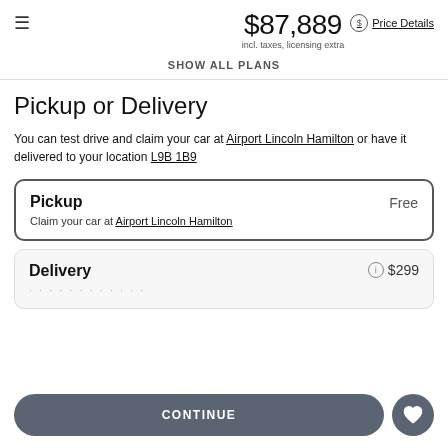$87,889 incl. taxes, licensing extra  Price Details
SHOW ALL PLANS
Pickup or Delivery
You can test drive and claim your car at Airport Lincoln Hamilton or have it delivered to your location L9B 1B9
Pickup  Free
Claim your car at Airport Lincoln Hamilton
Delivery  $299